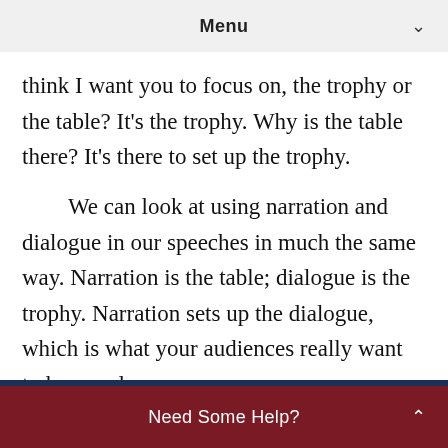Menu
think I want you to focus on, the trophy or the table? It's the trophy. Why is the table there? It's there to set up the trophy.
We can look at using narration and dialogue in our speeches in much the same way. Narration is the table; dialogue is the trophy. Narration sets up the dialogue, which is what your audiences really want to hear and see.
Let's look at how these two tactics can spice
Need Some Help?